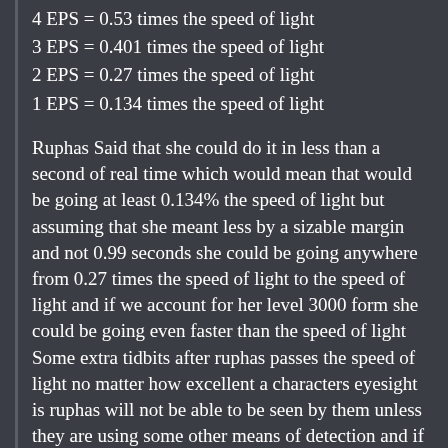4 EPS = 0.53 times the speed of light
3 EPS = 0.401 times the speed of light
2 EPS = 0.27 times the speed of light
1 EPS = 0.134 times the speed of light
Ruphas Said that she could do it in less than a second of real time which would mean that would be going at least 0.134% the speed of light but assuming that she meant less by a sizable margin and not 0.99 seconds she could be going anywhere from 0.27 times the speed of light to the speed of light and if we account for her level 3000 form she could be going even faster than the speed of light
Some extra tidbits after ruphas passes the speed of light no matter how excellent a characters eyesight is ruphas will not be able to be seen by them unless they are using some other means of detection and if we